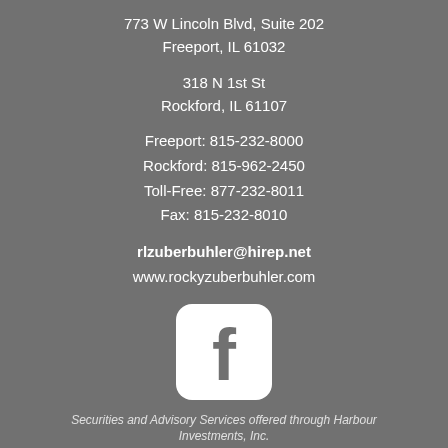773 W Lincoln Blvd, Suite 202
Freeport, IL 61032
318 N 1st St
Rockford, IL 61107
Freeport: 815-232-8000
Rockford: 815-962-2450
Toll-Free: 877-232-8011
Fax: 815-232-8010
rlzuberbuhler@hirep.net
www.rockyzuberbuhler.com
[Figure (logo): Facebook logo icon — white rounded square with lowercase f in gray]
Securities and Advisory Services offered through Harbour Investments, Inc.
Member FINRA/SIPC